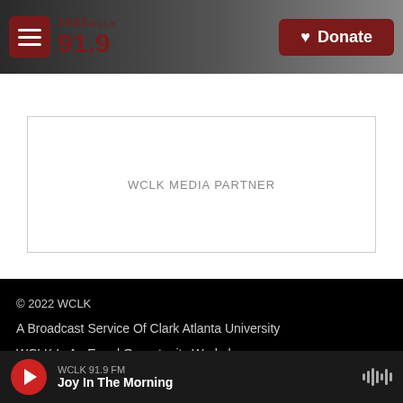JAZZ WCLK 91.9 — Donate
WCLK MEDIA PARTNER
© 2022 WCLK
A Broadcast Service Of Clark Atlanta University
WCLK Is An Equal Opportunity Workplace
WCLK 91.9 FM — Joy In The Morning